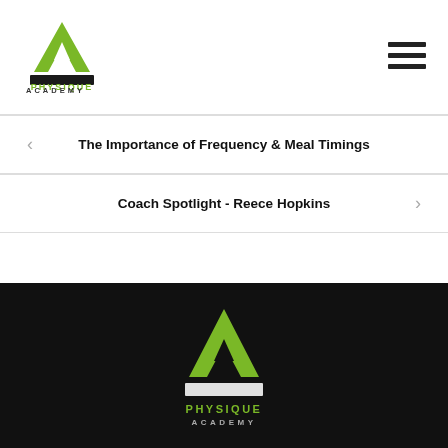[Figure (logo): Physique Academy logo - green letter A with black base bar and text PHYSIQUE ACADEMY below]
[Figure (other): Hamburger menu icon - three horizontal dark lines]
The Importance of Frequency & Meal Timings
Coach Spotlight - Reece Hopkins
[Figure (logo): Physique Academy logo on black background - green letter A with white base bar]